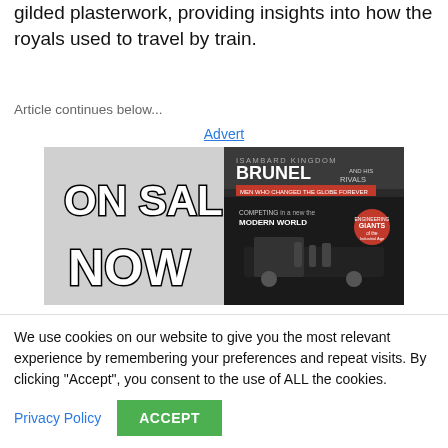gilded plasterwork, providing insights into how the royals used to travel by train.
Article continues below...
Advert
[Figure (illustration): Advertisement for 'Brunel and His Rivals' magazine showing 'ON SALE NOW' text on the left and a magazine cover with a locomotive scene on the right.]
We use cookies on our website to give you the most relevant experience by remembering your preferences and repeat visits. By clicking "Accept", you consent to the use of ALL the cookies.
Privacy Policy
ACCEPT